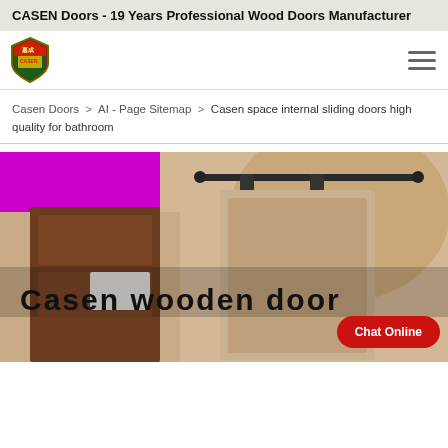CASEN Doors - 19 Years Professional Wood Doors Manufacturer
[Figure (logo): CASEN shield logo with Chinese characters and brand name]
Casen Doors > AI - Page Sitemap > Casen space internal sliding doors high quality for bathroom
[Figure (photo): Promotional banner showing a wooden barn-style sliding door against a beige wall with purple background accent. Text overlay reads 'Casen wooden door'. A red Chat Online button is visible in the lower right.]